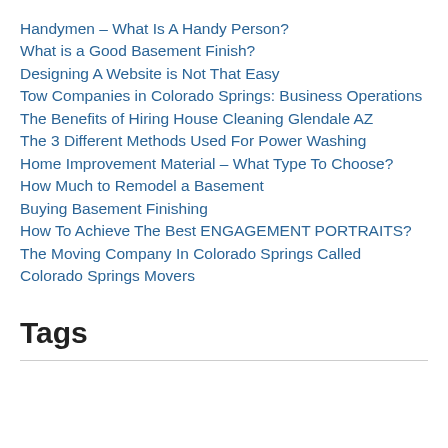Handymen – What Is A Handy Person?
What is a Good Basement Finish?
Designing A Website is Not That Easy
Tow Companies in Colorado Springs: Business Operations
The Benefits of Hiring House Cleaning Glendale AZ
The 3 Different Methods Used For Power Washing
Home Improvement Material – What Type To Choose?
How Much to Remodel a Basement
Buying Basement Finishing
How To Achieve The Best ENGAGEMENT PORTRAITS?
The Moving Company In Colorado Springs Called Colorado Springs Movers
Tags